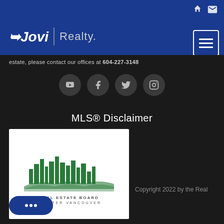Jovi Realty.
estate, please contact our offices at 604-227-3148
[Figure (illustration): Social media icons: YouTube, Facebook, Twitter, Instagram in dark circular buttons]
MLS® Disclaimer
[Figure (logo): Real Estate Board of Greater Vancouver logo with city skyline in green]
Copyright 2022 by the Real